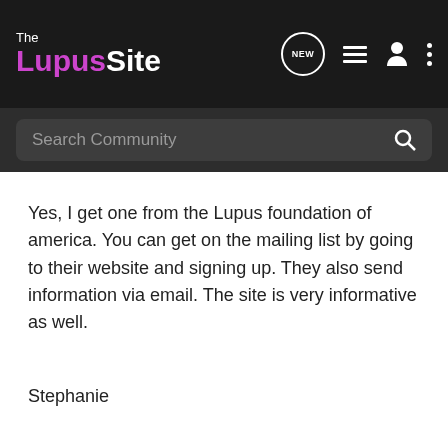The LupusSite
Search Community
Yes, I get one from the Lupus foundation of america. You can get on the mailing list by going to their website and signing up. They also send information via email. The site is very informative as well.
Stephanie
SCLE, SLE, Sjogrens, Reynaurds, APS, Fibro, Osteoarthritis, RA and Nephritis (wonder whats next)
KarolH · Registered
Joined May 15, 2008 · 4,968 Posts